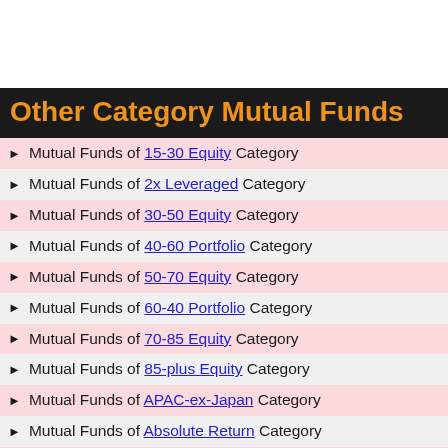Other Category Mutual Funds
Mutual Funds of 15-30 Equity Category
Mutual Funds of 2x Leveraged Category
Mutual Funds of 30-50 Equity Category
Mutual Funds of 40-60 Portfolio Category
Mutual Funds of 50-70 Equity Category
Mutual Funds of 60-40 Portfolio Category
Mutual Funds of 70-85 Equity Category
Mutual Funds of 85-plus Equity Category
Mutual Funds of APAC-ex-Japan Category
Mutual Funds of Absolute Return Category
Mutual Funds of Africa Category
Mutual Funds of Africa and Middle East Category
Mutual Funds of Aggressive Category